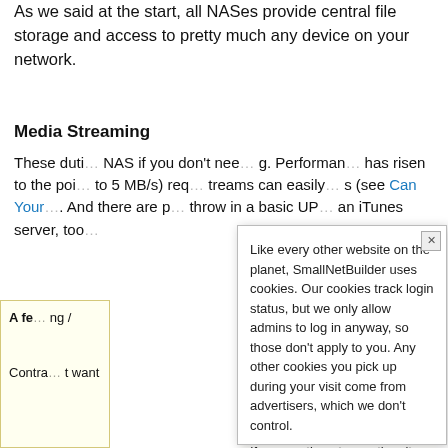As we said at the start, all NASes provide central file storage and access to pretty much any device on your network.
Media Streaming
These duties... NAS if you don't need... Performance... has risen to the point... (to 5 MB/s) req... streams can easily... (see Can Your... And there are p... throw in a basic UP... an iTunes server, too.
[Figure (screenshot): Cookie consent popup overlay with close button, text about cookies and advertiser tracking, and an 'I Agree' button]
[Figure (infographic): Related Articles overlay panel with red title 'Related Articles' and links: 'Choosing Diskful vs. Diskless NASes', 'How To Buy a NAS - The Short(er) Version - Updated 2011', 'NAS Basics', 'New To The Charts: Thecus N7700', 'QNAP Announces Atom D410 NASes']
A fe... ng /
Contra... t want